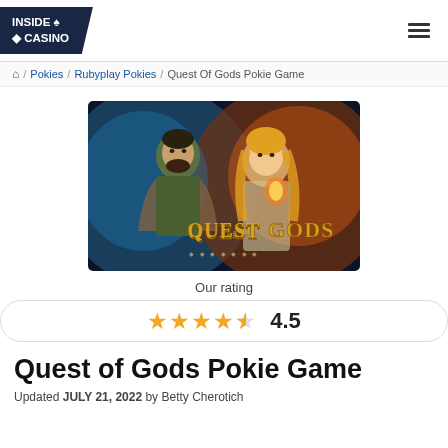INSIDE ♠ ◆ CASINO
/ Pokies / Rubyplay Pokies / Quest Of Gods Pokie Game
[Figure (illustration): Quest of Gods slot game promotional banner showing a male warrior and female goddess character with the text 'QUEST OF GODS' in stylized gold lettering on a dark fantasy background with blue and orange glowing effects]
Our rating
★★★★½ 4.5
Quest of Gods Pokie Game
Updated JULY 21, 2022 by Betty Cherotich